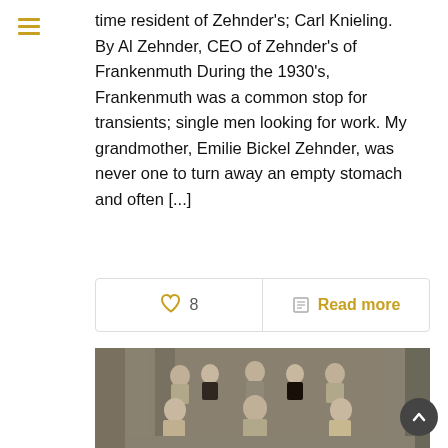time resident of Zehnder's; Carl Knieling. By Al Zehnder, CEO of Zehnder's of Frankenmuth During the 1930's, Frankenmuth was a common stop for transients; single men looking for work. My grandmother, Emilie Bickel Zehnder, was never one to turn away an empty stomach and often [...]
♡ 8   Read more
[Figure (photo): Black and white group photo of approximately 8-9 people, some seated and some standing, in what appears to be a formal or semi-formal setting with curtains in the background.]